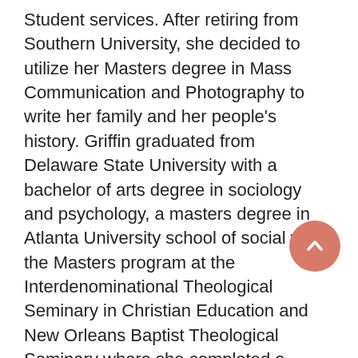Student services. After retiring from Southern University, she decided to utilize her Masters degree in Mass Communication and Photography to write her family and her people's history. Griffin graduated from Delaware State University with a bachelor of arts degree in sociology and psychology, a masters degree in Atlanta University school of social work, the Masters program at the Interdenominational Theological Seminary in Christian Education and New Orleans Baptist Theological Seminary where she completed a Masters degree in psychological Counseling. She received a Masters degree in Educational Supervision and Mass Communication and photography from Southern University. She did further studies at Louisiana State University – Baton Rouge and Northwestern University in Evanston, Illinois. Griffin has worked with children, youth and adults most of her career. She has served as musician for Cherubim choirs and youth choirs since she was twelve years old